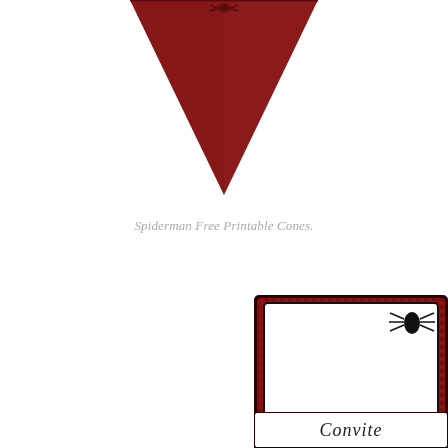[Figure (illustration): Top portion of a dark red Spiderman-themed cone shape (triangle pointing downward), partially cropped at top of page]
Spiderman Free Printable Cones.
[Figure (illustration): Spiderman themed party invitation card with dark red background with dot texture pattern, containing a white inner card with a spider logo in the upper right corner, and a lower section showing 'Convite' text with a small Spiderman figure at bottom]